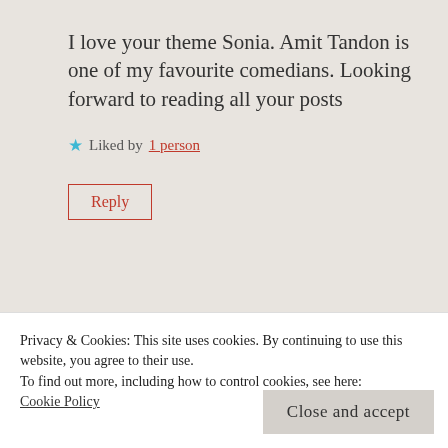I love your theme Sonia. Amit Tandon is one of my favourite comedians. Looking forward to reading all your posts
★ Liked by 1 person
Reply
Unishta
Privacy & Cookies: This site uses cookies. By continuing to use this website, you agree to their use.
To find out more, including how to control cookies, see here:
Cookie Policy
Close and accept